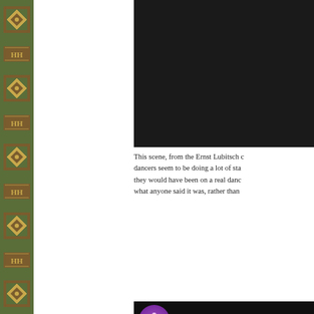[Figure (illustration): Decorative green and brown border strip with repeating diamond and HH motifs on the left side of the page]
[Figure (screenshot): Dark/black video thumbnail at the top right of the page]
This scene, from the Ernst Lubitsch c... dancers seem to be doing a lot of sta... they would have been on a real danc... what anyone said it was, rather than
[Figure (screenshot): Video thumbnail showing Fox Trot Scene Oys... with a ballet dancer icon in purple circle on left and a dark scene of people in front of a columned building]